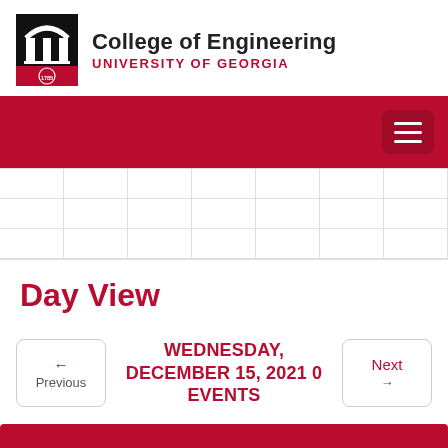[Figure (logo): University of Georgia College of Engineering logo with arch icon and UGA seal dated 1785]
College of Engineering UNIVERSITY OF GEORGIA
[Figure (screenshot): Red navigation bar with hamburger menu button]
[Figure (other): Calendar grid area with light gray grid lines]
Day View
← Previous  WEDNESDAY, DECEMBER 15, 2021 0 EVENTS  Next →